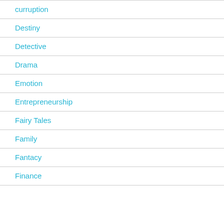curruption
Destiny
Detective
Drama
Emotion
Entrepreneurship
Fairy Tales
Family
Fantacy
Finance